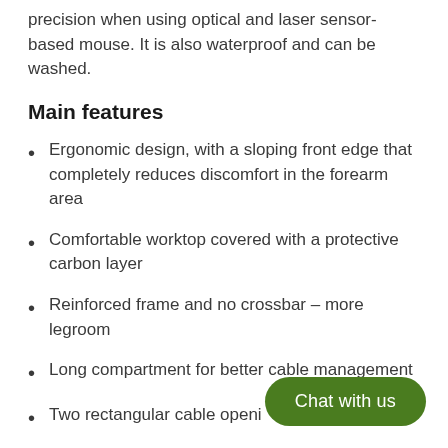precision when using optical and laser sensor-based mouse. It is also waterproof and can be washed.
Main features
Ergonomic design, with a sloping front edge that completely reduces discomfort in the forearm area
Comfortable worktop covered with a protective carbon layer
Reinforced frame and no crossbar – more legroom
Long compartment for better cable management
Two rectangular cable openings in the tabletop